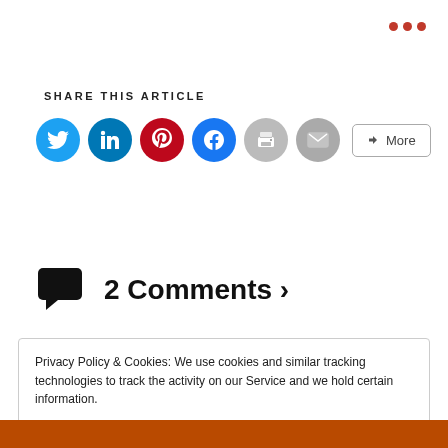[Figure (other): Three dark red dots (ellipsis menu icon) in top right corner]
SHARE THIS ARTICLE
[Figure (infographic): Row of social share icon circles: Twitter (blue), LinkedIn (dark blue), Pinterest (red), Facebook (blue), Print (gray), Email (gray), and a More button with share icon]
2 Comments ›
Privacy Policy & Cookies: We use cookies and similar tracking technologies to track the activity on our Service and we hold certain information. Read the full Privacy Policy.
Close & Accept